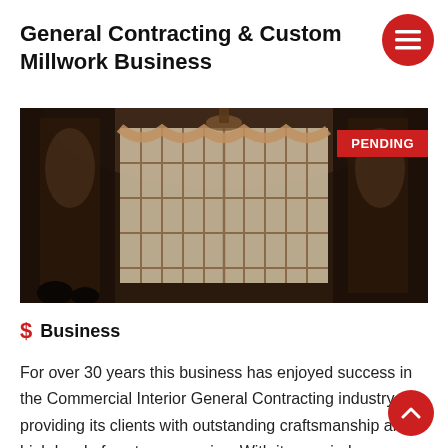General Contracting & Custom Millwork Business
[Figure (photo): Interior photo of an ornate commercial space with large decorative windows, draping curtains, and dark wood architectural elements. A red 'PENDING' label appears in the upper right corner of the image.]
$ Business
For over 30 years this business has enjoyed success in the Commercial Interior General Contracting industry providing its clients with outstanding craftsmanship and high level of customer service. With its own in-house millwork facility this business is able to consistently